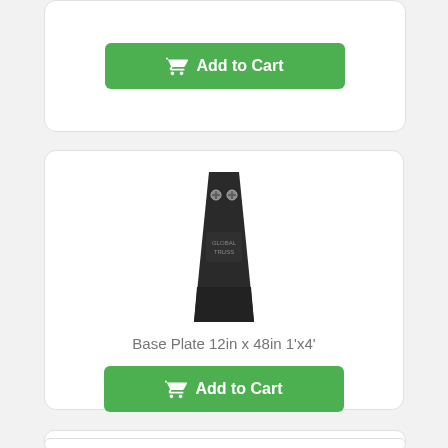[Figure (screenshot): Partial product card at top showing an Add to Cart green button with shopping cart icon]
[Figure (photo): Black metal base plate 12in x 48in (1 foot by 4 foot) with four bolt holes visible, shown in perspective view]
Base Plate 12in x 48in 1'x4'
[Figure (screenshot): Add to Cart green button with shopping cart icon for the Base Plate 12in x 48in product]
[Figure (photo): Partial view of another black metal base plate product at the bottom of the page]